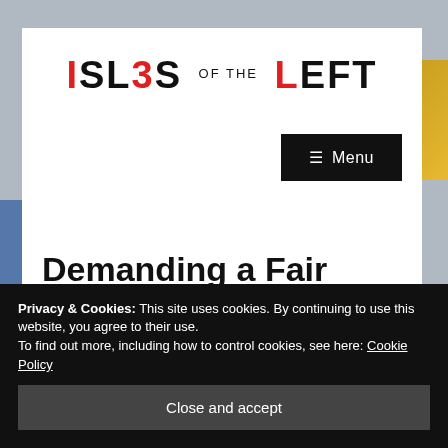ISLES OF THE LEFT
[Figure (logo): ISLES OF THE LEFT logo in bold black and red text]
Menu
Demanding a Fair
Privacy & Cookies: This site uses cookies. By continuing to use this website, you agree to their use.
To find out more, including how to control cookies, see here: Cookie Policy
Close and accept